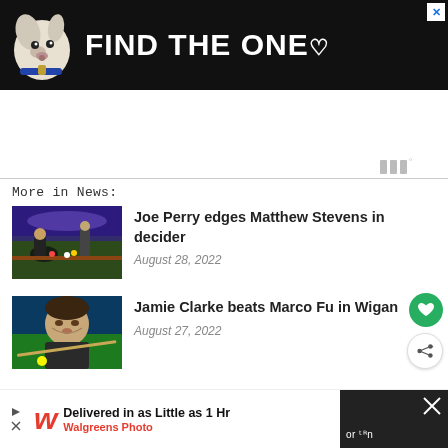[Figure (photo): Advertisement banner: black background with dog image, bold white text 'FIND THE ONE.' with heart symbol, close X button in top right corner]
[Figure (other): Weather widget showing bars icon with degree symbol, gray color, positioned on right side]
More in News:
[Figure (photo): Snooker match photo, two players at a snooker table under blue/purple event lighting]
Joe Perry edges Matthew Stevens in decider
August 28, 2022
[Figure (photo): Snooker player leaning over a green baize table, cueing a ball, close-up portrait style]
Jamie Clarke beats Marco Fu in Wigan
August 27, 2022
[Figure (other): Bottom advertisement: Walgreens Photo banner — 'Delivered in as Little as 1 Hr' with navigation arrow icon, and dark panel with X close button on the right]